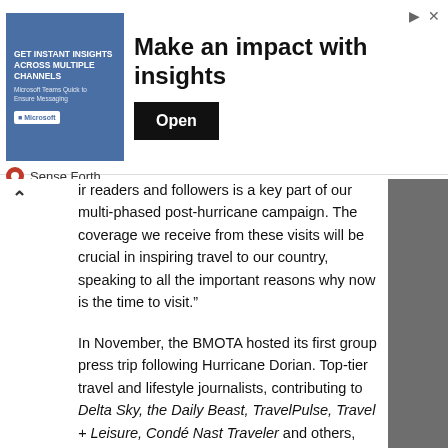[Figure (screenshot): Advertisement banner for 'Sense Forth' with image on left showing a woman with Microsoft Teams interface icons, headline 'Make an impact with insights', an 'Open' button, and branded logo]
ir readers and followers is a key part of our multi-phased post-hurricane campaign. The coverage we receive from these visits will be crucial in inspiring travel to our country, speaking to all the important reasons why now is the time to visit."
In November, the BMOTA hosted its first group press trip following Hurricane Dorian. Top-tier travel and lifestyle journalists, contributing to Delta Sky, the Daily Beast, TravelPulse, Travel + Leisure, Condé Nast Traveler and others, visited Nassau Paradise Island, Eleuthera and Harbour Island to discover the ease of island hopping in The Bahamas and get a first-hand account of the Bahamian people's resilience despite the devastating hurricane season. Stories will not only highlight BMOTA's "Open For